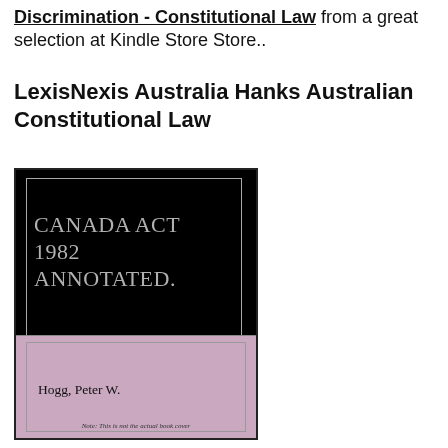Discrimination - Constitutional Law from a great selection at Kindle Store Store..
LexisNexis Australia Hanks Australian Constitutional Law
[Figure (photo): Book cover showing 'Canada Act 1982 Annotated.' by Hogg, Peter W. Black top section with grey text, mauve/pink bottom section. Note at bottom: 'Note: This is not the actual book cover']